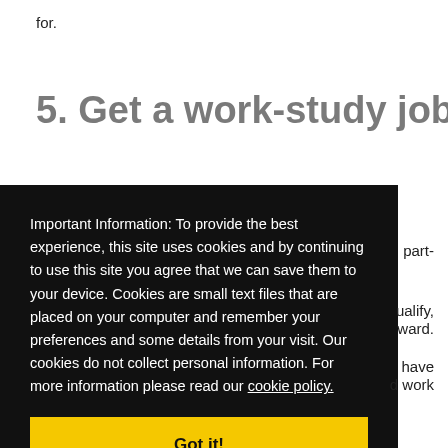for.
5. Get a work-study job
Important Information: To provide the best experience, this site uses cookies and by continuing to use this site you agree that we can save them to your device. Cookies are small text files that are placed on your computer and remember your preferences and some details from your visit. Our cookies do not collect personal information. For more information please read our cookie policy.
Got it!
part-
ualify,
ward.
have
d work